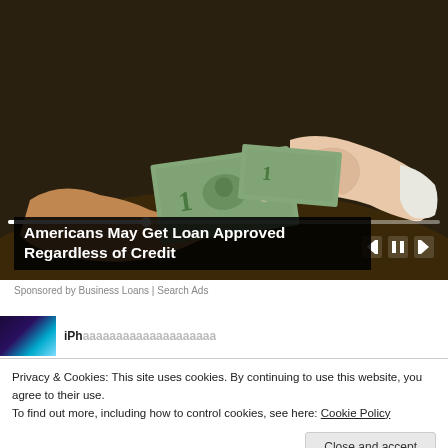[Figure (photo): Close-up photo of two hands exchanging US dollar bills, shown in a video player with progress bar and playback controls]
Americans May Get Loan Approved Regardless of Credit
Sponsored by Business Loans | Search Ads
[Figure (photo): Partially visible second advertisement with colorful thumbnail image and truncated headline starting with 'iPh...']
Privacy & Cookies: This site uses cookies. By continuing to use this website, you agree to their use.
To find out more, including how to control cookies, see here: Cookie Policy
Close and accept